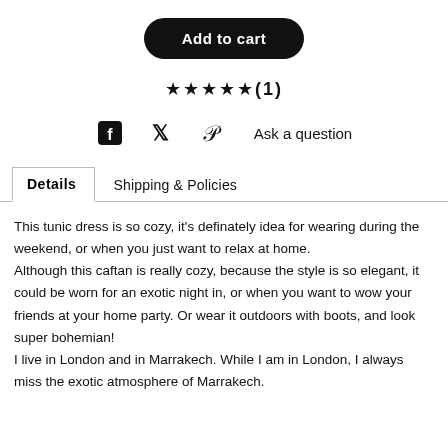[Figure (other): Black rounded rectangle button with white bold text 'Add to cart']
★★★★★(1)
[Figure (other): Social share icons: Facebook (f), Twitter (bird), Pinterest (P) and text 'Ask a question']
Details   Shipping & Policies
This tunic dress is so cozy, it's definately idea for wearing during the weekend, or when you just want to relax at home. Although this caftan is really cozy, because the style is so elegant, it could be worn for an exotic night in, or when you want to wow your friends at your home party. Or wear it outdoors with boots, and look super bohemian!
I live in London and in Marrakech. While I am in London, I always miss the exotic atmosphere of Marrakech.